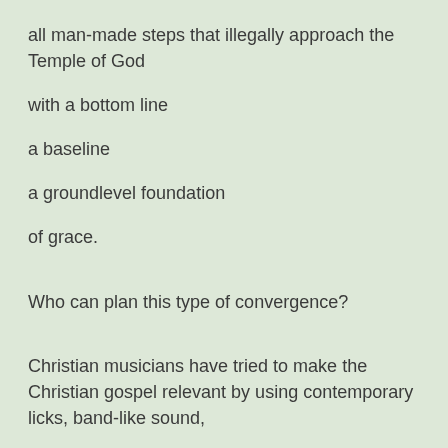all man-made steps that illegally approach the Temple of God
with a bottom line
a baseline
a groundlevel foundation
of grace.
Who can plan this type of convergence?
Christian musicians have tried to make the Christian gospel relevant by using contemporary licks, band-like sound,
but this is almost a bastard Ishmael.